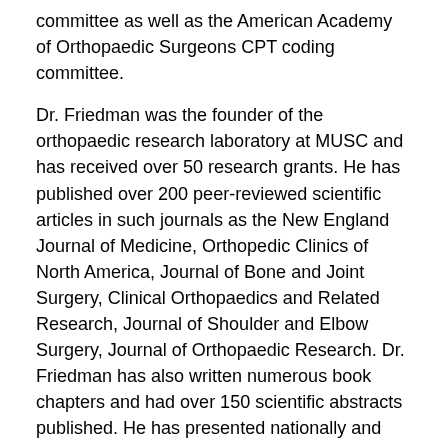committee as well as the American Academy of Orthopaedic Surgeons CPT coding committee.
Dr. Friedman was the founder of the orthopaedic research laboratory at MUSC and has received over 50 research grants. He has published over 200 peer-reviewed scientific articles in such journals as the New England Journal of Medicine, Orthopedic Clinics of North America, Journal of Bone and Joint Surgery, Clinical Orthopaedics and Related Research, Journal of Shoulder and Elbow Surgery, Journal of Orthopaedic Research. Dr. Friedman has also written numerous book chapters and had over 150 scientific abstracts published. He has presented nationally and internationally at over 500 medical conferences. Dr. Friedman's special areas of interest focus on total joint replacement, including hip, knee, shoulder, and elbow; shoulder and elbow disorders and sports medicine; and arthroscopic surgery.
Board Certifications: Orthopaedic Surgery